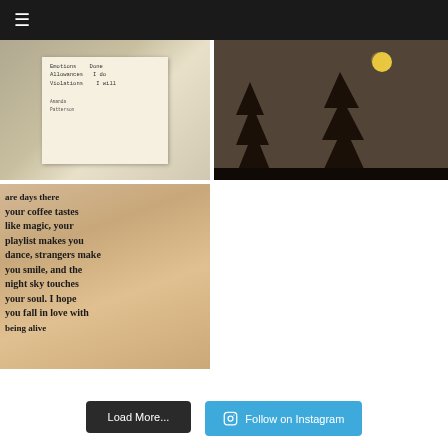[Figure (photo): Handwritten note on paper over textured fabric background]
[Figure (photo): Night sky with full moon and silhouetted pine trees]
[Figure (photo): Handwritten poetry text on skin: 'are days there your coffee tastes like magic, your playlist makes you dance, strangers make you smile, and the night sky touches your soul. I hope you fall in love with being alive']
Load More...
Follow on Instagram